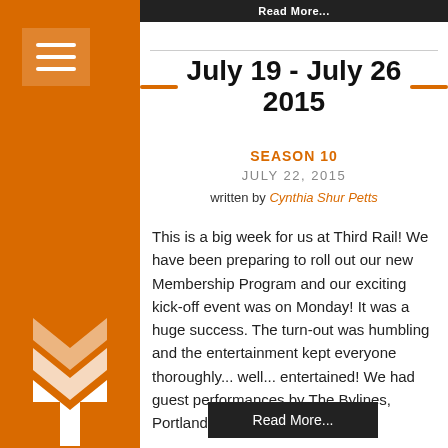Read More...
July 19 - July 26 2015
SEASON 10
JULY 22, 2015
written by Cynthia Shur Petts
This is a big week for us at Third Rail! We have been preparing to roll out our new Membership Program and our exciting kick-off event was on Monday! It was a huge success. The turn-out was humbling and the entertainment kept everyone thoroughly... well... entertained! We had guest performances by The Bylines, Portland Experimental [...]
Read More...